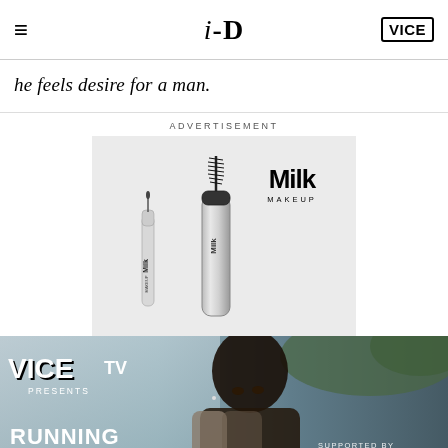i-D | VICE
he feels desire for a man.
ADVERTISEMENT
[Figure (photo): Milk Makeup advertisement showing mascara and brow product tubes with Milk Makeup logo]
[Figure (photo): VICE TV Presents: Running While Black promotional image supported by Adidas, featuring a Black man running outdoors]